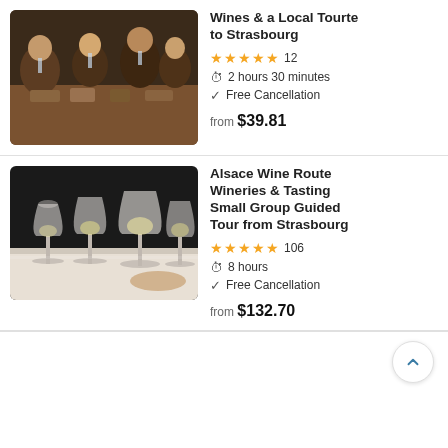Wines & a Local Tourte to Strasbourg
★★★★★ 12 | 2 hours 30 minutes | Free Cancellation | from $39.81
Alsace Wine Route Wineries & Tasting Small Group Guided Tour from Strasbourg
★★★★★ 106 | 8 hours | Free Cancellation | from $132.70